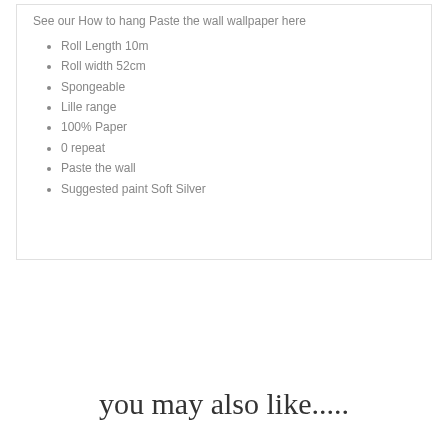See our How to hang Paste the wall wallpaper here
Roll Length 10m
Roll width 52cm
Spongeable
Lille range
100% Paper
0 repeat
Paste the wall
Suggested paint Soft Silver
you may also like.....